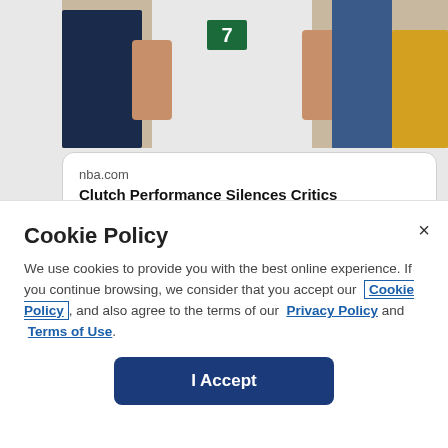[Figure (photo): Cropped sports photo showing basketball players, one in white jersey, others in dark clothing, partial view of crowd in background]
nba.com
Clutch Performance Silences Critics
10:35 PM · Apr 24, 2022
120  Reply  Copy link
Read 2 replies
Cookie Policy
We use cookies to provide you with the best online experience. If you continue browsing, we consider that you accept our Cookie Policy, and also agree to the terms of our Privacy Policy and Terms of Use.
I Accept